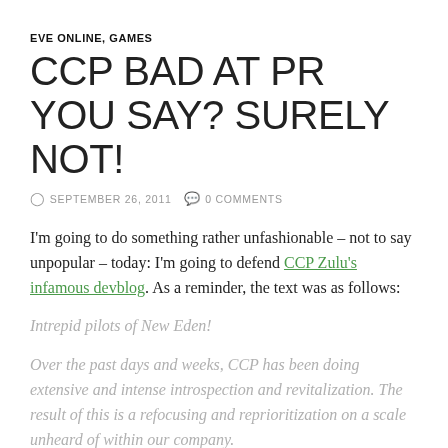EVE ONLINE, GAMES
CCP BAD AT PR YOU SAY? SURELY NOT!
SEPTEMBER 26, 2011   0 COMMENTS
I'm going to do something rather unfashionable – not to say unpopular – today: I'm going to defend CCP Zulu's infamous devblog.  As a reminder, the text was as follows:
Intrepid pilots of New Eden!
Over the past days and weeks, CCP has been doing extensive and intense introspection and revitalization. The result of this is a refocusing and reprioritization on a scale unheard of within our company.